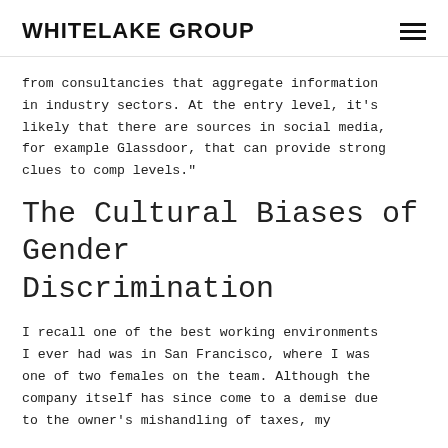WHITELAKE GROUP
from consultancies that aggregate information in industry sectors. At the entry level, it’s likely that there are sources in social media, for example Glassdoor, that can provide strong clues to comp levels.”
The Cultural Biases of Gender Discrimination
I recall one of the best working environments I ever had was in San Francisco, where I was one of two females on the team. Although the company itself has since come to a demise due to the owner’s mishandling of taxes, my